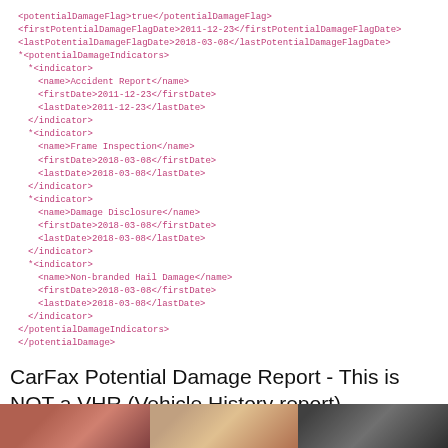[Figure (screenshot): XML code block showing potentialDamage XML structure with potentialDamageFlag, firstPotentialDamageFlagDate, lastPotentialDamageFlagDate, potentialDamageIndicators with multiple indicator elements including Accident Report, Frame Inspection, Damage Disclosure, and Non-branded Hail Damage]
CarFax Potential Damage Report - This is NOT a VHR (Vehicle History report)
2) Physical Vehicle Inspection: 120+ touch point vehicle inspection is performed by a qualified Wyoming vehicle inspector - using the patent pending CarDr.com Inspector App - that is aware of the vehicle damage history provided by Carfax
[Figure (photo): Strip of vehicle inspection photos at the bottom of the page]